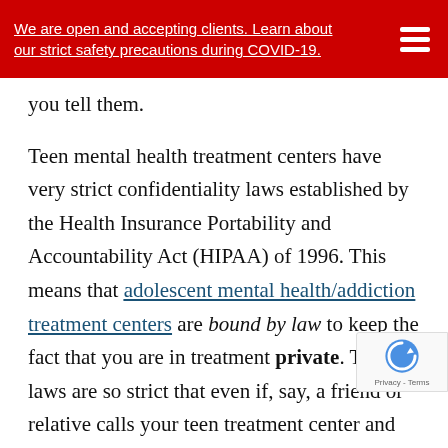We are open and accepting clients. Learn about our strict safety precautions during COVID-19.
you tell them.

Teen mental health treatment centers have very strict confidentiality laws established by the Health Insurance Portability and Accountability Act (HIPAA) of 1996. This means that adolescent mental health/addiction treatment centers are bound by law to keep the fact that you are in treatment private. The laws are so strict that even if, say, a friend or relative calls your teen treatment center and asks to speak with you, staff are not even allowed to confirm or deny whether you are even there – unless they are on a list of callers pre-approved by you and your